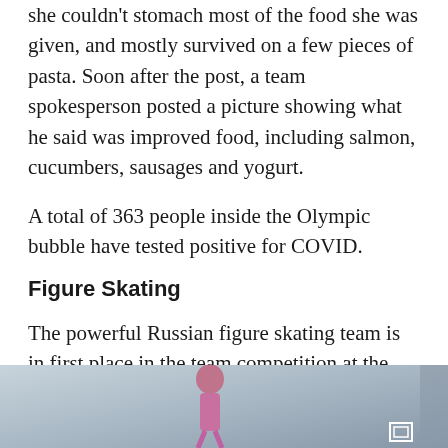she couldn't stomach most of the food she was given, and mostly survived on a few pieces of pasta. Soon after the post, a team spokesperson posted a picture showing what he said was improved food, including salmon, cucumbers, sausages and yogurt.
A total of 363 people inside the Olympic bubble have tested positive for COVID.
Figure Skating
The powerful Russian figure skating team is in first place in the team competition at the Beijing Games after a winning performance from world champion Kamila Valieva and another strong skate from Mark Kondratiuk.
[Figure (photo): Partial photo of a figure skater, cropped at bottom of page, showing upper portion of athlete in purple/pink outfit on ice]